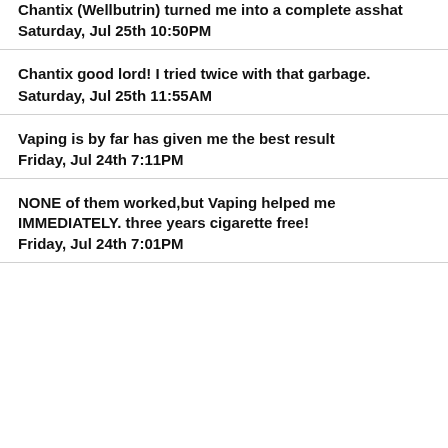Chantix (Wellbutrin) turned me into a complete asshat
Saturday, Jul 25th 10:50PM
Chantix good lord! I tried twice with that garbage.
Saturday, Jul 25th 11:55AM
Vaping is by far has given me the best result
Friday, Jul 24th 7:11PM
NONE of them worked,but Vaping helped me IMMEDIATELY. three years cigarette free!
Friday, Jul 24th 7:01PM